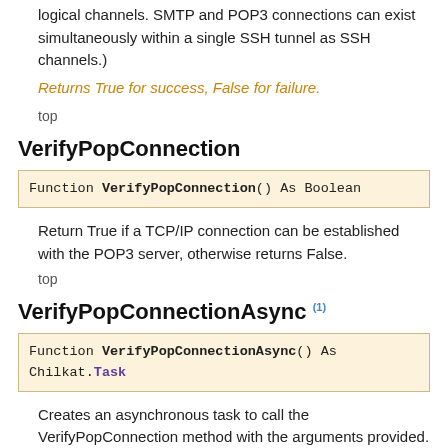logical channels. SMTP and POP3 connections can exist simultaneously within a single SSH tunnel as SSH channels.)
Returns True for success, False for failure.
top
VerifyPopConnection
Function VerifyPopConnection() As Boolean
Return True if a TCP/IP connection can be established with the POP3 server, otherwise returns False.
top
VerifyPopConnectionAsync (1)
Function VerifyPopConnectionAsync() As Chilkat.Task
Creates an asynchronous task to call the VerifyPopConnection method with the arguments provided. (Async methods are available starting in